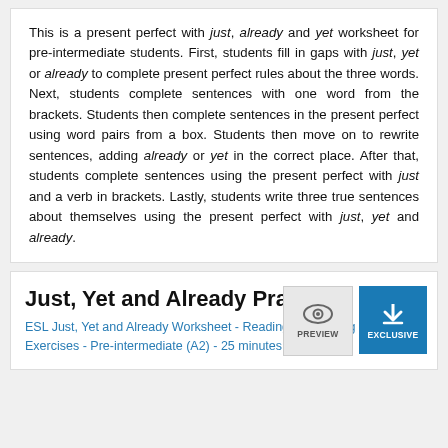This is a present perfect with just, already and yet worksheet for pre-intermediate students. First, students fill in gaps with just, yet or already to complete present perfect rules about the three words. Next, students complete sentences with one word from the brackets. Students then complete sentences in the present perfect using word pairs from a box. Students then move on to rewrite sentences, adding already or yet in the correct place. After that, students complete sentences using the present perfect with just and a verb in brackets. Lastly, students write three true sentences about themselves using the present perfect with just, yet and already.
Just, Yet and Already Practice
ESL Just, Yet and Already Worksheet - Reading and Writing Exercises - Pre-intermediate (A2) - 25 minutes